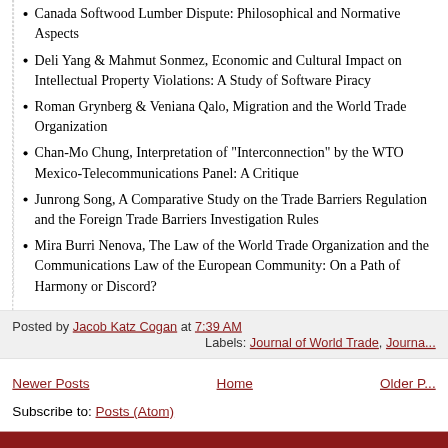Canada Softwood Lumber Dispute: Philosophical and Normative Aspects
Deli Yang & Mahmut Sonmez, Economic and Cultural Impact on Intellectual Property Violations: A Study of Software Piracy
Roman Grynberg & Veniana Qalo, Migration and the World Trade Organization
Chan-Mo Chung, Interpretation of "Interconnection" by the WTO Mexico-Telecommunications Panel: A Critique
Junrong Song, A Comparative Study on the Trade Barriers Regulation and the Foreign Trade Barriers Investigation Rules
Mira Burri Nenova, The Law of the World Trade Organization and the Communications Law of the European Community: On a Path of Harmony or Discord?
Posted by Jacob Katz Cogan at 7:39 AM
Labels: Journal of World Trade, Journa...
Newer Posts   Home   Older Posts
Subscribe to: Posts (Atom)